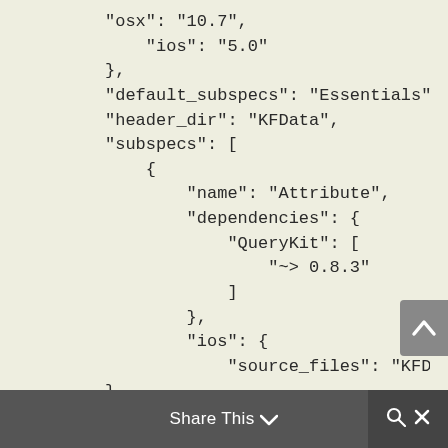"osx": "10.7",
    "ios": "5.0"
},
"default_subspecs": "Essentials"
"header_dir": "KFData",
"subspecs": [
    {
        "name": "Attribute",
        "dependencies": {
            "QueryKit": [
                "~> 0.8.3"
            ]
        },
        "ios": {
            "source_files": "KFD
},